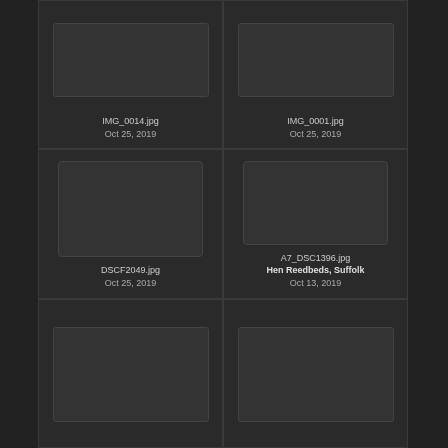[Figure (screenshot): Photo manager grid view showing image thumbnails with filenames and dates]
IMG_0014.jpg
Oct 25, 2019
IMG_0001.jpg
Oct 25, 2019
DSCF2049.jpg
Oct 25, 2019
A7_DSC1396.jpg
Hen Reedbeds, Suffolk
Oct 13, 2019
(partial thumbnails, row 3)